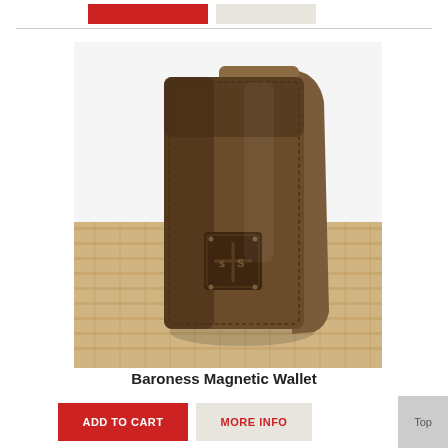[Figure (photo): Brown leather bifold wallet (Baroness Magnetic Wallet) standing upright on a burlap fabric surface, with an STS brand logo badge on the front panel.]
Baroness Magnetic Wallet
$69.99
ADD TO CART
MORE INFO
Top